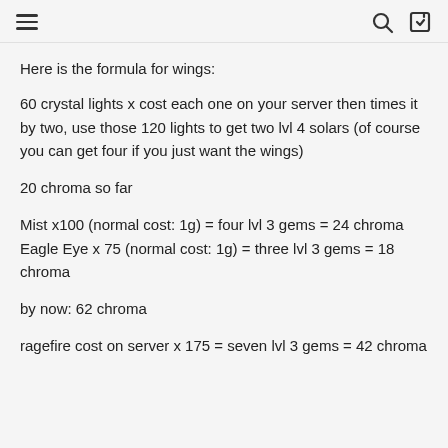[hamburger menu] [search icon] [login icon]
Here is the formula for wings:
60 crystal lights x cost each one on your server then times it by two, use those 120 lights to get two lvl 4 solars (of course you can get four if you just want the wings)
20 chroma so far
Mist x100 (normal cost: 1g) = four lvl 3 gems = 24 chroma
Eagle Eye x 75 (normal cost: 1g) = three lvl 3 gems = 18 chroma
by now: 62 chroma
ragefire cost on server x 175 = seven lvl 3 gems = 42 chroma